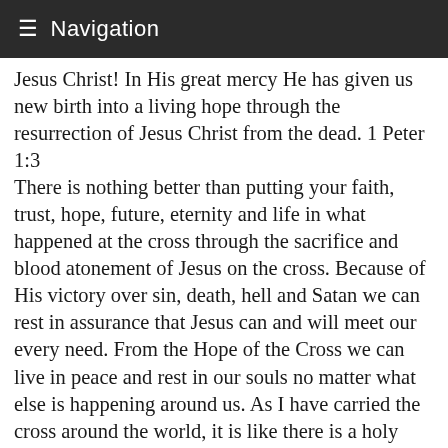Navigation
Jesus Christ! In His great mercy He has given us new birth into a living hope through the resurrection of Jesus Christ from the dead. 1 Peter 1:3 There is nothing better than putting your faith, trust, hope, future, eternity and life in what happened at the cross through the sacrifice and blood atonement of Jesus on the cross. Because of His victory over sin, death, hell and Satan we can rest in assurance that Jesus can and will meet our every need. From the Hope of the Cross we can live in peace and rest in our souls no matter what else is happening around us. As I have carried the cross around the world, it is like there is a holy bubble surrounding me, the cross and my family along the roads of the world. Often it seems that circle of about fifty to a hundred feet people feel Glory. They are aware of the Presence of God and there